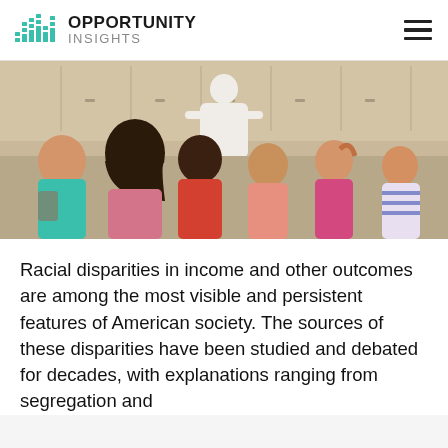OPPORTUNITY INSIGHTS
[Figure (photo): Classroom photo showing diverse children sitting with their backs to the camera, facing a teacher at the front of the room.]
Racial disparities in income and other outcomes are among the most visible and persistent features of American society. The sources of these disparities have been studied and debated for decades, with explanations ranging from segregation and